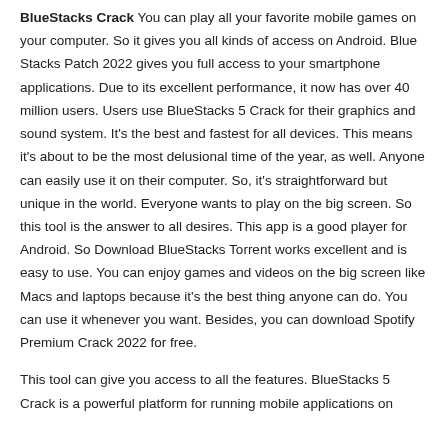BlueStacks Crack You can play all your favorite mobile games on your computer. So it gives you all kinds of access on Android. Blue Stacks Patch 2022 gives you full access to your smartphone applications. Due to its excellent performance, it now has over 40 million users. Users use BlueStacks 5 Crack for their graphics and sound system. It's the best and fastest for all devices. This means it's about to be the most delusional time of the year, as well. Anyone can easily use it on their computer. So, it's straightforward but unique in the world. Everyone wants to play on the big screen. So this tool is the answer to all desires. This app is a good player for Android. So Download BlueStacks Torrent works excellent and is easy to use. You can enjoy games and videos on the big screen like Macs and laptops because it's the best thing anyone can do. You can use it whenever you want. Besides, you can download Spotify Premium Crack 2022 for free.
This tool can give you access to all the features. BlueStacks 5 Crack is a powerful platform for running mobile applications on